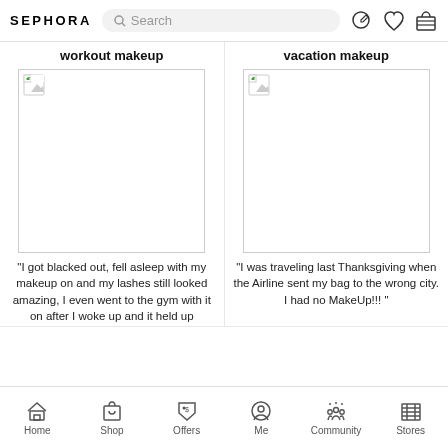SEPHORA — Search bar and navigation icons
workout makeup
vacation makeup
[Figure (photo): Broken image placeholder for workout makeup product]
[Figure (photo): Broken image placeholder for vacation makeup product]
“I got blacked out, fell asleep with my makeup on and my lashes still looked amazing, I even went to the gym with it on after I woke up and it held up…”
“I was traveling last Thanksgiving when the Airline sent my bag to the wrong city. I had no MakeUp!!!  ”
Home  Shop  Offers  Me  Community  Stores